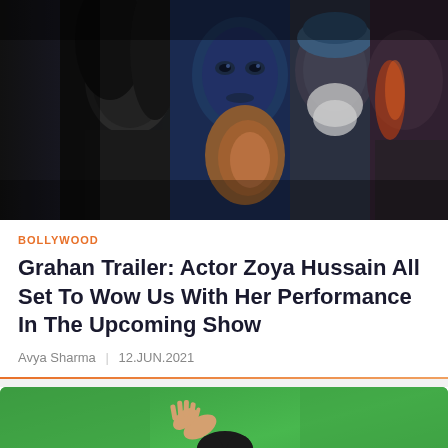[Figure (photo): Movie poster for Grahan showing multiple characters - a woman in black and white on the left, a young woman with blue tones in center, an elderly bearded man, and a man on the right with orange/flame tones]
BOLLYWOOD
Grahan Trailer: Actor Zoya Hussain All Set To Wow Us With Her Performance In The Upcoming Show
Avya Sharma | 12.JUN.2021
[Figure (photo): A person waving against a green screen background, person appears to be wearing glasses]